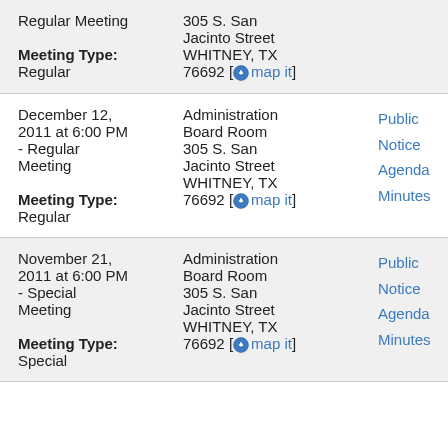| Meeting | Location | Documents |
| --- | --- | --- |
| Regular Meeting
Meeting Type: Regular | 305 S. San Jacinto Street
WHITNEY, TX 76692 [map it] |  |
| December 12, 2011 at 6:00 PM - Regular Meeting
Meeting Type: Regular | Administration Board Room
305 S. San Jacinto Street
WHITNEY, TX 76692 [map it] | Public Notice
Agenda
Minutes |
| November 21, 2011 at 6:00 PM - Special Meeting
Meeting Type: Special | Administration Board Room
305 S. San Jacinto Street
WHITNEY, TX 76692 [map it] | Public Notice
Agenda
Minutes |